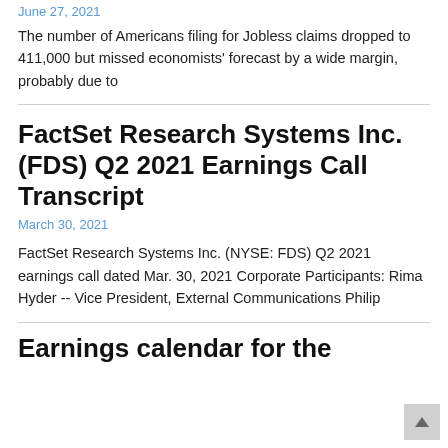June 27, 2021
The number of Americans filing for Jobless claims dropped to 411,000 but missed economists’ forecast by a wide margin, probably due to
FactSet Research Systems Inc. (FDS) Q2 2021 Earnings Call Transcript
March 30, 2021
FactSet Research Systems Inc. (NYSE: FDS) Q2 2021 earnings call dated Mar. 30, 2021 Corporate Participants: Rima Hyder -- Vice President, External Communications Philip
Earnings calendar for the